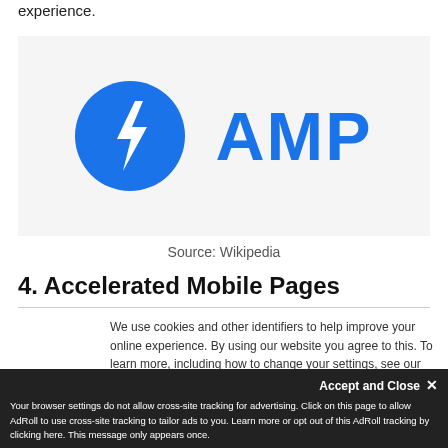experience.
[Figure (logo): AMP (Accelerated Mobile Pages) logo: blue circle with white lightning bolt icon on the left, and bold blue text 'AMP' on the right, on a light gray background]
Source: Wikipedia
4. Accelerated Mobile Pages
We use cookies and other identifiers to help improve your online experience. By using our website you agree to this. To learn more, including how to change your settings, see our Privacy Policy.
Your browser settings do not allow cross-site tracking for advertising. Click on this page to allow AdRoll to use cross-site tracking to tailor ads to you. Learn more or opt out of this AdRoll tracking by clicking here. This message only appears once.